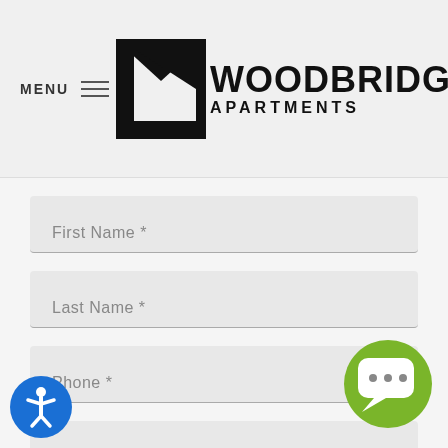[Figure (logo): Woodbridge Apartments logo with stylized house/flag icon and text]
First Name *
Last Name *
Phone *
Email *
[Figure (other): Green chat bubble icon with three dots]
[Figure (other): Blue accessibility icon showing person figure]